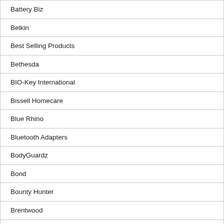| Battery Biz |
| Belkin |
| Best Selling Products |
| Bethesda |
| BIO-Key International |
| Bissell Homecare |
| Blue Rhino |
| Bluetooth Adapters |
| BodyGuardz |
| Bond |
| Bounty Hunter |
| Brentwood |
| Brother International |
| Brother Mobile Solutions |